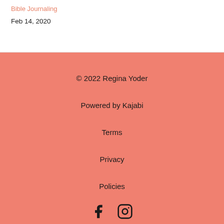Bible Journaling
Feb 14, 2020
© 2022 Regina Yoder
Powered by Kajabi
Terms
Privacy
Policies
[Figure (other): Social media icons: Facebook and Instagram]